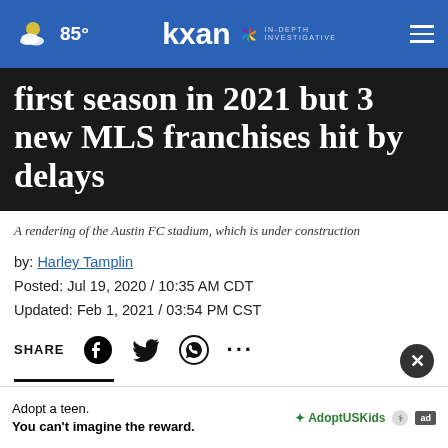KXAN — 85° — IN-DEPTH INVESTIGATIVE
first season in 2021 but 3 new MLS franchises hit by delays
A rendering of the Austin FC stadium, which is under construction
by: Harley Tamplin
Posted: Jul 19, 2020 / 10:35 AM CDT
Updated: Feb 1, 2021 / 03:54 PM CST
SHARE
AUSTIN (KXAN) — Three expansion Major League Soccer franchises set to play their first season later than scheduled – but Austin FC remains on track to
Adopt a teen. You can't imagine the reward.